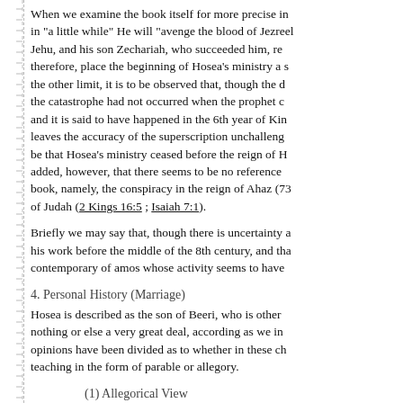When we examine the book itself for more precise in in "a little while" He will "avenge the blood of Jezreel Jehu, and his son Zechariah, who succeeded him, re therefore, place the beginning of Hosea's ministry a s the other limit, it is to be observed that, though the d the catastrophe had not occurred when the prophet c and it is said to have happened in the 6th year of Kin leaves the accuracy of the superscription unchalleng be that Hosea's ministry ceased before the reign of H added, however, that there seems to be no reference book, namely, the conspiracy in the reign of Ahaz (73 of Judah (2 Kings 16:5 ; Isaiah 7:1).
Briefly we may say that, though there is uncertainty a his work before the middle of the 8th century, and tha contemporary of amos whose activity seems to have
4. Personal History (Marriage)
Hosea is described as the son of Beeri, who is other nothing or else a very great deal, according as we in opinions have been divided as to whether in these ch teaching in the form of parable or allegory.
(1) Allegorical View
The Jewish interpreters as a rule took the alle following Origen the great allegorizer, states it of Hosea's book: "Who is wise, that he may un